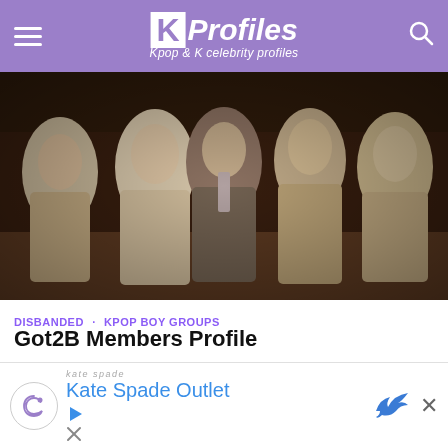KProfiles - Kpop & K celebrity profiles
[Figure (photo): Group photo of Got2B members wearing cream/beige suits seated against a dark ornate background]
DISBANDED · KPOP BOY GROUPS
Got2B Members Profile
[Figure (photo): Colorful photo of Got2B female members in front of red and yellow striped background, one holding a clapperboard]
Kate Spade Outlet - advertisement